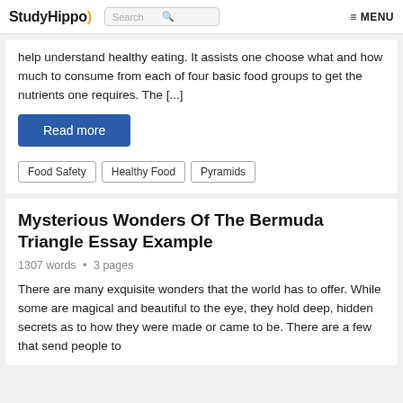StudyHippo  Search  MENU
help understand healthy eating. It assists one choose what and how much to consume from each of four basic food groups to get the nutrients one requires. The [...]
Read more
Food Safety
Healthy Food
Pyramids
Mysterious Wonders Of The Bermuda Triangle Essay Example
1307 words • 3 pages
There are many exquisite wonders that the world has to offer. While some are magical and beautiful to the eye, they hold deep, hidden secrets as to how they were made or came to be. There are a few that send people to